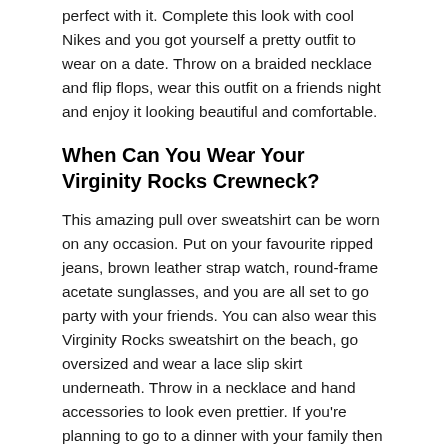perfect with it. Complete this look with cool Nikes and you got yourself a pretty outfit to wear on a date. Throw on a braided necklace and flip flops, wear this outfit on a friends night and enjoy it looking beautiful and comfortable.
When Can You Wear Your Virginity Rocks Crewneck?
This amazing pull over sweatshirt can be worn on any occasion. Put on your favourite ripped jeans, brown leather strap watch, round-frame acetate sunglasses, and you are all set to go party with your friends. You can also wear this Virginity Rocks sweatshirt on the beach, go oversized and wear a lace slip skirt underneath. Throw in a necklace and hand accessories to look even prettier. If you're planning to go to a dinner with your family then this outfit will be perfect for that occasion. Combine this awesome crewneck sweatshirt with blue shorts (preferably denim shorts) and wear white sneakers to complete the look. If you're in a mood to do a little extra then wear a cute handbag, aviator sunglasses, earrings, and a necklace to give this outfit a fancy touch but don't go overboard with too much stuff.